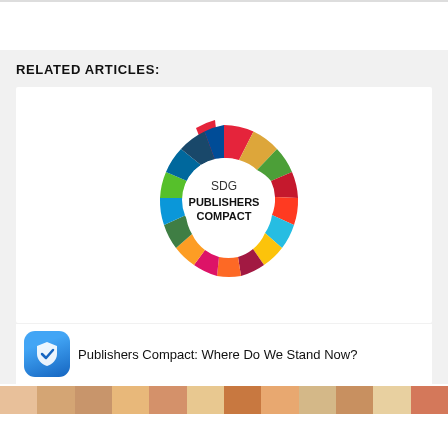RELATED ARTICLES:
[Figure (logo): SDG Publishers Compact circular logo with colorful segments representing the 17 Sustainable Development Goals, with text 'SDG PUBLISHERS COMPACT' in the center]
Publishers Compact: Where Do We Stand Now?
[Figure (photo): Colorful photo strip at the bottom of the page]